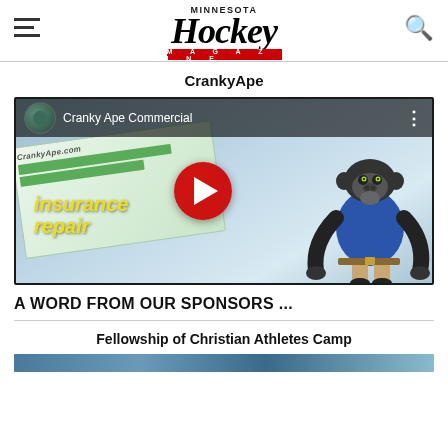Minnesota Hockey Magazine
CrankyApe
[Figure (screenshot): YouTube video embed showing 'Cranky Ape Commercial' with a 3D animated gorilla wearing a blue shirt and khaki pants, standing next to a website display showing 'insurance repair' text in yellow]
A WORD FROM OUR SPONSORS ...
Fellowship of Christian Athletes Camp
[Figure (photo): Bottom strip of an image, partially visible]